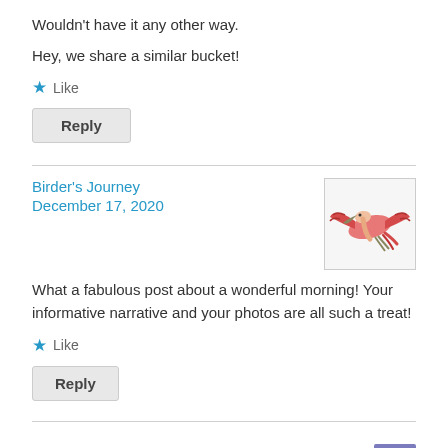Wouldn't have it any other way.
Hey, we share a similar bucket!
Like
Reply
Birder's Journey
December 17, 2020
[Figure (photo): A roseate spoonbill bird in flight with pink and red wings spread against a white background]
What a fabulous post about a wonderful morning! Your informative narrative and your photos are all such a treat!
Like
Reply
Wally Jones